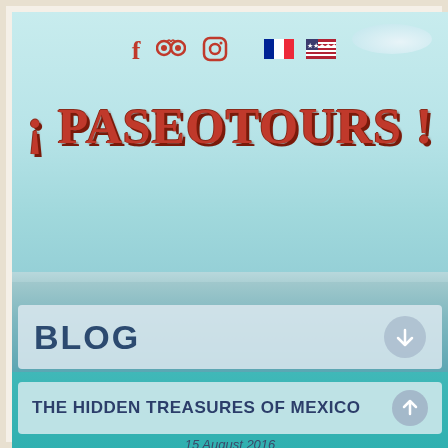[Figure (screenshot): Website screenshot of PaseoTours travel blog homepage showing social media icons, logo, navigation menu button, blog section header, and article title 'The Hidden Treasures of Mexico' dated 15 August 2016, with ocean/sea background image]
¡ PASEOTOURS !
BLOG
THE HIDDEN TREASURES OF MEXICO
15 August 2016